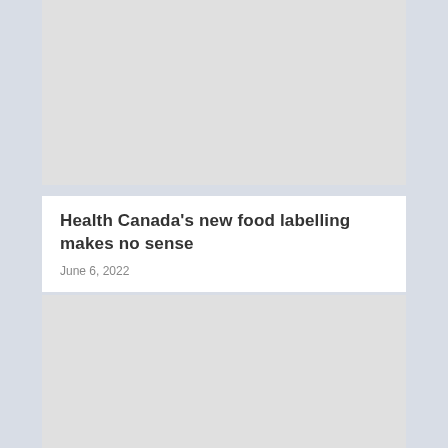[Figure (photo): Gray placeholder image at the top of the article card]
Health Canada’s new food labelling makes no sense
June 6, 2022
[Figure (photo): Gray placeholder image at the bottom of the page]